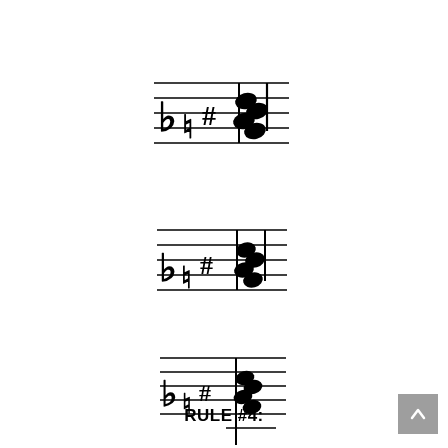[Figure (illustration): Music notation example 1: staff lines with accidentals (flat, natural, sharp) and cluster of filled noteheads, with a vertical bar line]
[Figure (illustration): Music notation example 2: staff lines with accidentals (flat, natural, sharp) and cluster of filled noteheads, with a vertical bar line]
[Figure (illustration): Music notation example 3: staff lines with accidentals (flat, natural, sharp) and cluster of filled noteheads, with a vertical bar line]
RULE #4: